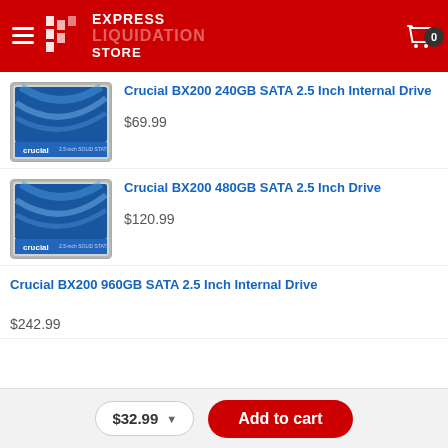Express Liquidation Store
[Figure (photo): Crucial BX200 SSD product image - blue SSD drive with Crucial branding]
Crucial BX200 240GB SATA 2.5 Inch Internal Drive
$69.99
[Figure (photo): Crucial BX200 SSD product image - blue SSD drive with Crucial branding]
Crucial BX200 480GB SATA 2.5 Inch Drive
$120.99
Crucial BX200 960GB SATA 2.5 Inch Internal Drive
$242.99
$32.99
Add to cart